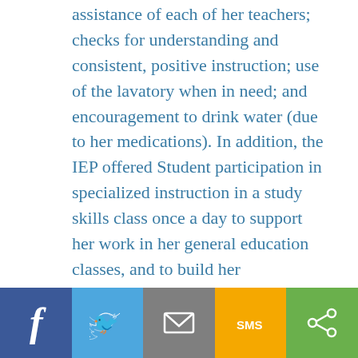assistance of each of her teachers; checks for understanding and consistent, positive instruction; use of the lavatory when in need; and encouragement to drink water (due to her medications). In addition, the IEP offered Student participation in specialized instruction in a study skills class once a day to support her work in her general education classes, and to build her organizational skills. The placement resulted in 84 percent of Student's time in general education, and the remaining 16 percent of her time in special education. The IEP also provided for testing accommodations:
[Figure (infographic): Social sharing bar with five buttons: Facebook (dark blue, 'f'), Twitter (light blue, bird icon), Email (gray, envelope icon), SMS (yellow/orange, 'SMS'), Share (green, share icon)]